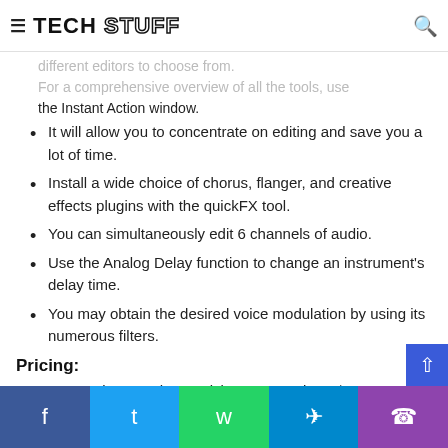TECH STUFF
different editors to choose from. For a comprehensive overview of all the tools, use the Instant Action window.
It will allow you to concentrate on editing and save you a lot of time.
Install a wide choice of chorus, flanger, and creative effects plugins with the quickFX tool.
You can simultaneously edit 6 channels of audio.
Use the Analog Delay function to change an instrument's delay time.
You may obtain the desired voice modulation by using its numerous filters.
Pricing:
Its one-time purchase pricing start at about $59.99